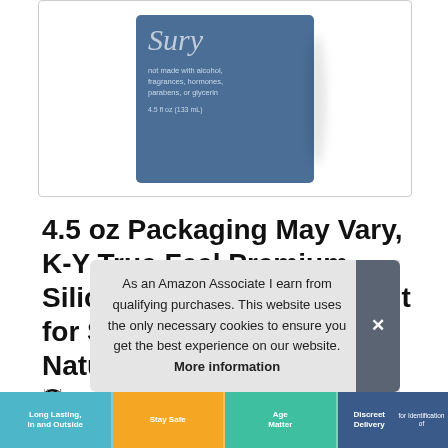[Figure (photo): Product image of K-Y True Feel lubricant in a dark blue rectangular box with white/light text, shown on a white background inside a light gray bordered box.]
4.5 oz Packaging May Vary, K-Y True Feel Premium Silicone Personal Lubricant for Sex, Safe to Use with Natural Rubber Latex Condoms, Sex Lube for Women
#ad
As an Amazon Associate I earn from qualifying purchases. This website uses the only necessary cookies to ensure you get the best experience on our website. More information
[Figure (infographic): Bottom strip with four colored panels: blue panel with 'Long Lasting, In and Outside', orange panel with 'Stay Safe', teal panel with partially visible text, and dark navy panel with 'Discreet Delivery' text.]